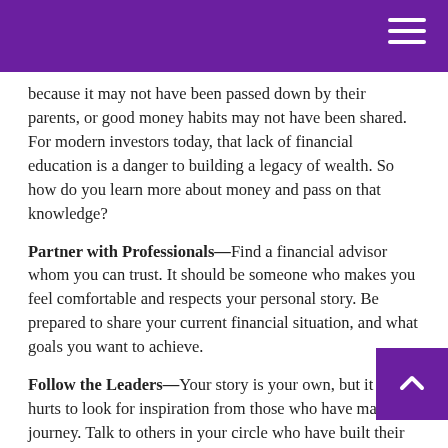because it may not have been passed down by their parents, or good money habits may not have been shared. For modern investors today, that lack of financial education is a danger to building a legacy of wealth. So how do you learn more about money and pass on that knowledge?
Partner with Professionals—Find a financial advisor whom you can trust. It should be someone who makes you feel comfortable and respects your personal story. Be prepared to share your current financial situation, and what goals you want to achieve.
Follow the Leaders—Your story is your own, but it never hurts to look for inspiration from those who have made the journey. Talk to others in your circle who have built their own financial plan with the help of a professional and ask how they made their decisions. If nothing else, it can help